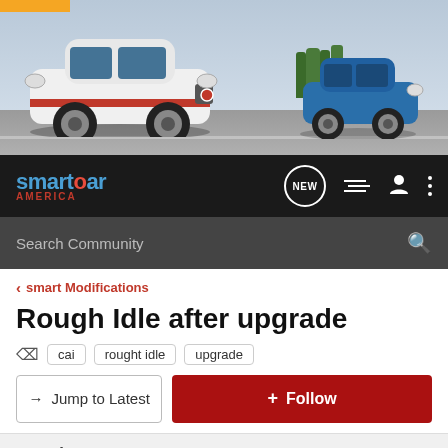[Figure (photo): Banner image showing two Smart cars on a road, one white with orange accents on the left and one blue on the right, with trees and sky background]
smartcar AMERICA — nav bar with NEW button, list icon, user icon, and menu icon
Search Community
< smart Modifications
Rough Idle after upgrade
cai   rought idle   upgrade
→ Jump to Latest
+ Follow
1 - 7 of 7 Posts
09Brabus · Registered